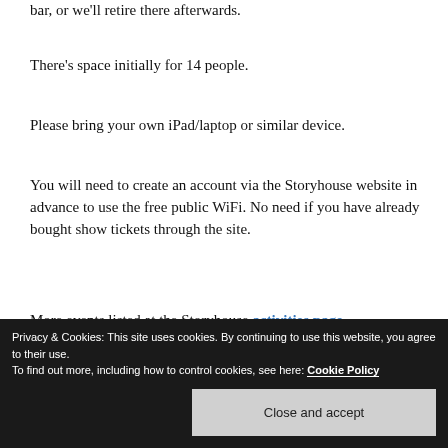bar, or we'll retire there afterwards.
There's space initially for 14 people.
Please bring your own iPad/laptop or similar device.
You will need to create an account via the Storyhouse website in advance to use the free public WiFi. No need if you have already bought show tickets through the site.
More events listed at the Storyhouse activities page.
Questions? Follow me on Twitter and DM me, or sign up for
Privacy & Cookies: This site uses cookies. By continuing to use this website, you agree to their use. To find out more, including how to control cookies, see here: Cookie Policy
Close and accept